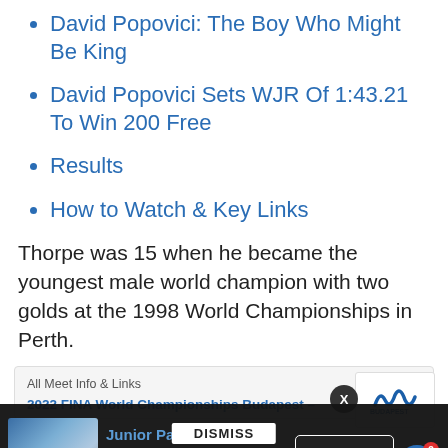David Popovici: The Boy Who Might Be King
David Popovici Sets WJR Of 1:43.21 To Win 200 Free
Results
How to Watch & Key Links
Thorpe was 15 when he became the youngest male world champion with two golds at the 1998 World Championships in Perth.
All Meet Info & Links
2022 FINA World Championships Budapest –
Junior Pan Pacs: Day 2 Finals - Flynn Southam
7 hours ago
Learn More
DISMISS